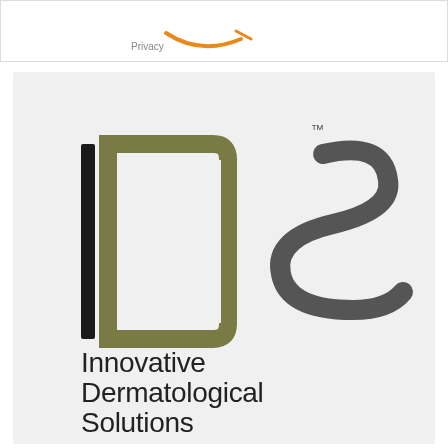[Figure (logo): Partial Amazon-style orange arc/smile logo at top of page inside a white bordered box with 'Privacy' text link]
[Figure (logo): IDS Innovative Dermatological Solutions logo on light grey background. Large stylized 'IDS' letters: vertical black bar for I, olive/khaki square D shape, dark grey S curve. TM mark top right. Below: text 'Innovative Dermatological Solutions' in thin dark sans-serif font. Bottom: 'BY JSK SKIN SOLUTIONS' branding.]